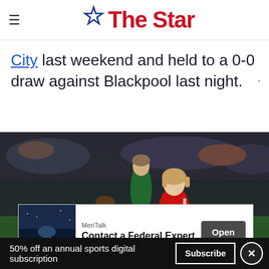The Star
City last weekend and held to a 0-0 draw against Blackpool last night.
[Figure (photo): Football match action photo: player in red Barnsley kit (number 4) dribbling past opponent in green Stoke City kit (bet365 sponsor, number 19), stadium crowd in background]
[Figure (screenshot): Advertisement overlay: MeriTalk - Contact a Federal Expert - Open button]
50% off an annual sports digital subscription